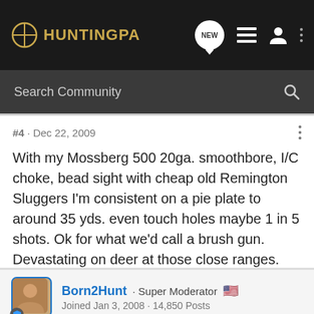HuntingPA — navigation bar with logo, NEW, menu, user, and more icons; Search Community search bar
#4 · Dec 22, 2009
With my Mossberg 500 20ga. smoothbore, I/C choke, bead sight with cheap old Remington Sluggers I'm consistent on a pie plate to around 35 yds. even touch holes maybe 1 in 5 shots. Ok for what we'd call a brush gun. Devastating on deer at those close ranges.
Born2Hunt · Super Moderator 🇺🇸
Joined Jan 3, 2008 · 14,850 Posts